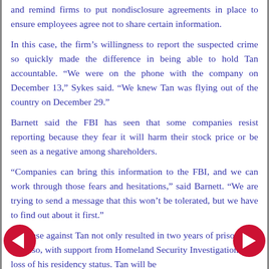and remind firms to put nondisclosure agreements in place to ensure employees agree not to share certain information.
In this case, the firm’s willingness to report the suspected crime so quickly made the difference in being able to hold Tan accountable. “We were on the phone with the company on December 13,” Sykes said. “We knew Tan was flying out of the country on December 29.”
Barnett said the FBI has seen that some companies resist reporting because they fear it will harm their stock price or be seen as a negative among shareholders.
“Companies can bring this information to the FBI, and we can work through those fears and hesitations,” said Barnett. “We are trying to send a message that this won’t be tolerated, but we have to find out about it first.”
The case against Tan not only resulted in two years of prison time but also, with support from Homeland Security Investigations, the loss of his residency status. Tan will be